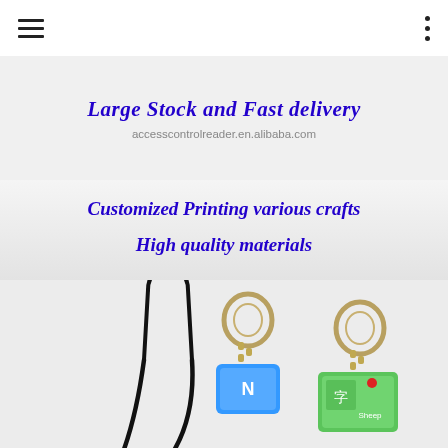[Figure (screenshot): Mobile app top navigation bar with hamburger menu on left and three-dot menu on right]
[Figure (photo): Product promotional banner with text 'Large Stock and Fast delivery' and URL 'accesscontrolreader.en.alibaba.com' on light grey background]
[Figure (photo): Product photo showing customized printed keychains and key fobs including a black cord keychain tag, two metal ring keychains with colorful printed pendants (blue and green), on white fabric background, with overlay text 'Customized Printing various crafts' and 'High quality materials' in bold italic blue font]